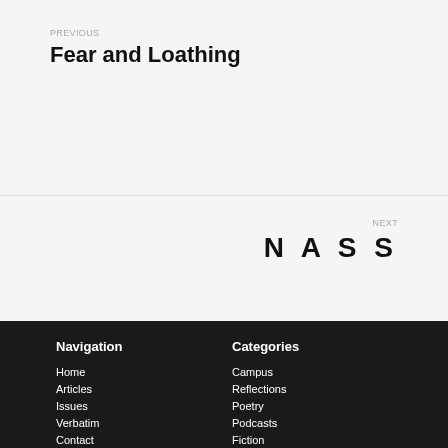PREVIOUS
Fear and Loathing
NEXT
NASS
Navigation
Home
Articles
Issues
Verbatim
Contact
Donate
Categories
Campus
Reflections
Poetry
Podcasts
Fiction
Lists